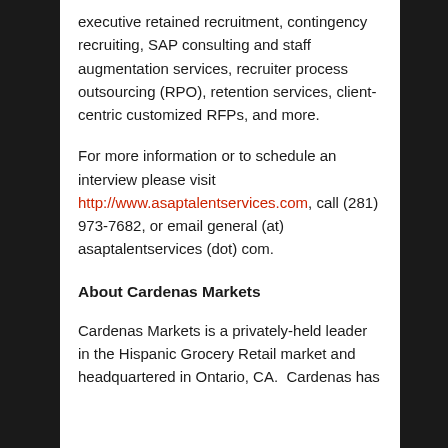executive retained recruitment, contingency recruiting, SAP consulting and staff augmentation services, recruiter process outsourcing (RPO), retention services, client-centric customized RFPs, and more.
For more information or to schedule an interview please visit http://www.asaptalentservices.com, call (281) 973-7682, or email general (at) asaptalentservices (dot) com.
About Cardenas Markets
Cardenas Markets is a privately-held leader in the Hispanic Grocery Retail market and headquartered in Ontario, CA.  Cardenas has